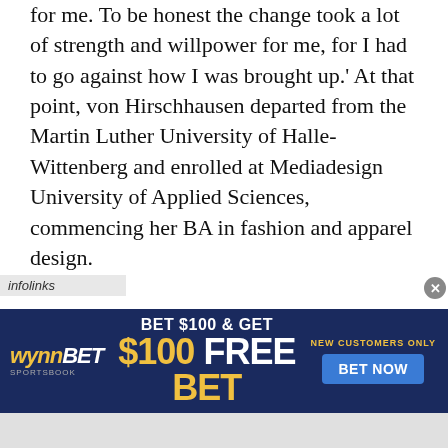for me. To be honest the change took a lot of strength and willpower for me, for I had to go against how I was brought up.' At that point, von Hirschhausen departed from the Martin Luther University of Halle-Wittenberg and enrolled at Mediadesign University of Applied Sciences, commencing her BA in fashion and apparel design.
    There may have been another angle that prompted her interest in fashion. 'People always said that fashion cannot be sustainable. But maybe therefore I always wanted to find out how sustainable fashion can be and where the
[Figure (screenshot): WynnBET Sportsbook advertisement banner: 'BET $100 & GET $100 FREE BET — NEW CUSTOMERS ONLY — BET NOW']